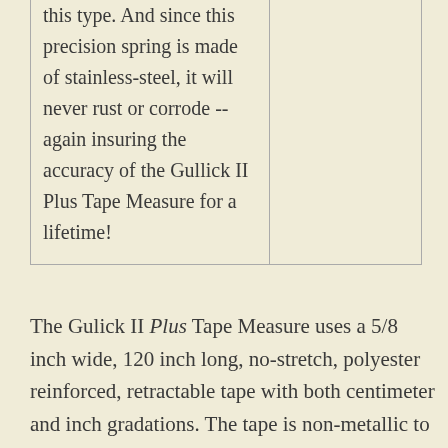this type. And since this precision spring is made of stainless-steel, it will never rust or corrode -- again insuring the accuracy of the Gullick II Plus Tape Measure for a lifetime!
The Gulick II Plus Tape Measure uses a 5/8 inch wide, 120 inch long, no-stretch, polyester reinforced, retractable tape with both centimeter and inch gradations. The tape is non-metallic to avoid the discomfort of a cold object touching the skin. It is ideal for measuring larger,